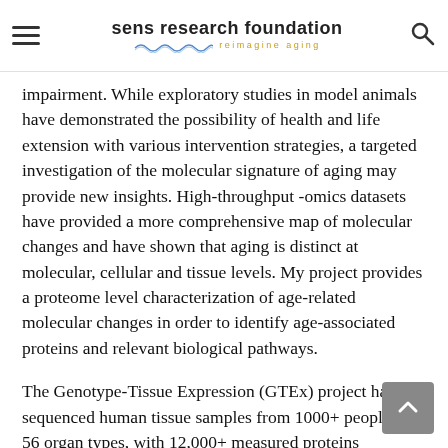sens research foundation — reimagine aging
impairment. While exploratory studies in model animals have demonstrated the possibility of health and life extension with various intervention strategies, a targeted investigation of the molecular signature of aging may provide new insights. High-throughput -omics datasets have provided a more comprehensive map of molecular changes and have shown that aging is distinct at molecular, cellular and tissue levels. My project provides a proteome level characterization of age-related molecular changes in order to identify age-associated proteins and relevant biological pathways.
The Genotype-Tissue Expression (GTEx) project has sequenced human tissue samples from 1000+ people and 56 organ types, with 12,000+ measured proteins